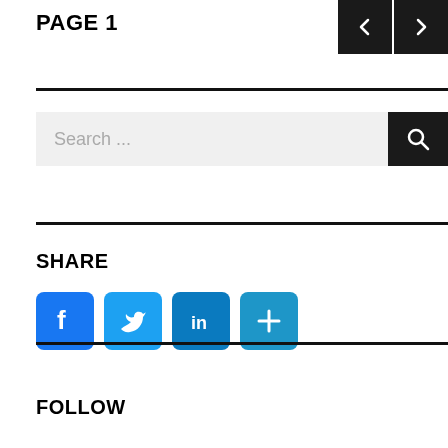PAGE 1
[Figure (infographic): Navigation buttons: left arrow and right arrow on dark background]
Search ...
SHARE
[Figure (infographic): Social media share buttons: Facebook, Twitter, LinkedIn, and More (+)]
FOLLOW